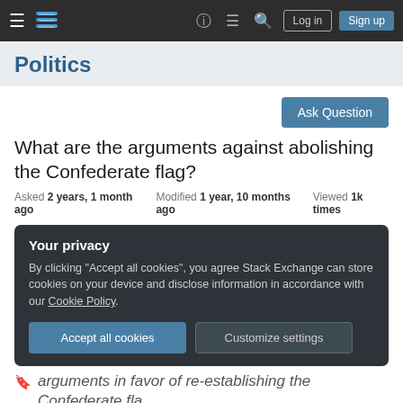Politics Stack Exchange navigation bar with hamburger menu, logo, help, chat, search icons, Log in and Sign up buttons
Politics
Ask Question
What are the arguments against abolishing the Confederate flag?
Asked 2 years, 1 month ago   Modified 1 year, 10 months ago   Viewed 1k times
Your privacy
By clicking "Accept all cookies", you agree Stack Exchange can store cookies on your device and disclose information in accordance with our Cookie Policy.
Accept all cookies   Customize settings
arguments in favor of re-establishing the Confederate fla...